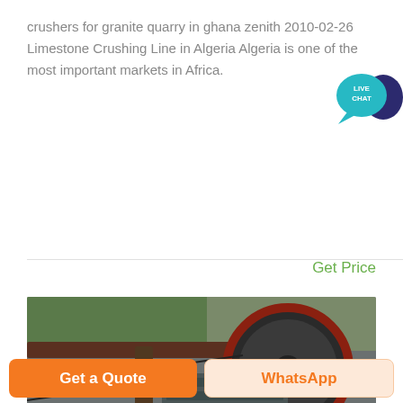crushers for granite quarry in ghana zenith 2010-02-26 Limestone Crushing Line in Algeria Algeria is one of the most important markets in Africa.
[Figure (photo): Industrial jaw crusher machinery photographed outdoors showing large metal crushing components, flywheel, and frame structure]
Get Price
Get a Quote
WhatsApp